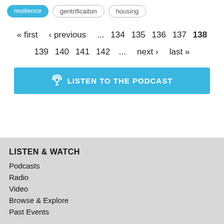resilience
gentrificaiton
housing
« first  ‹ previous  ...  134  135  136  137  138  139  140  141  142  ...  next ›  last »
LISTEN TO THE PODCAST
LISTEN & WATCH
Podcasts
Radio
Video
Browse & Explore
Past Events